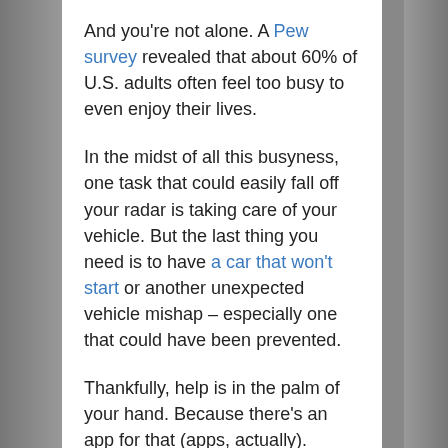And you're not alone. A Pew survey revealed that about 60% of U.S. adults often feel too busy to even enjoy their lives.
In the midst of all this busyness, one task that could easily fall off your radar is taking care of your vehicle. But the last thing you need is to have a car that won't start or another unexpected vehicle mishap – especially one that could have been prevented.
Thankfully, help is in the palm of your hand. Because there's an app for that (apps, actually).
There's a veritable cornucopia of vehicle-